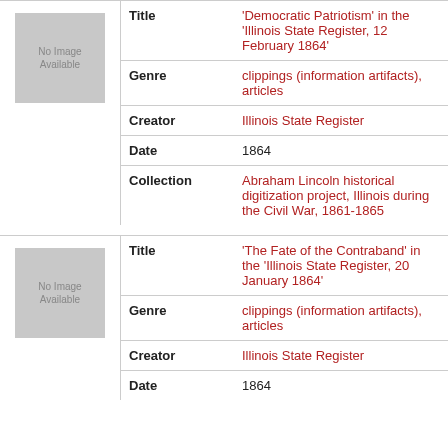| Field | Value |
| --- | --- |
| Title | 'Democratic Patriotism' in the 'Illinois State Register, 12 February 1864' |
| Genre | clippings (information artifacts), articles |
| Creator | Illinois State Register |
| Date | 1864 |
| Collection | Abraham Lincoln historical digitization project, Illinois during the Civil War, 1861-1865 |
| Field | Value |
| --- | --- |
| Title | 'The Fate of the Contraband' in the 'Illinois State Register, 20 January 1864' |
| Genre | clippings (information artifacts), articles |
| Creator | Illinois State Register |
| Date | 1864 |